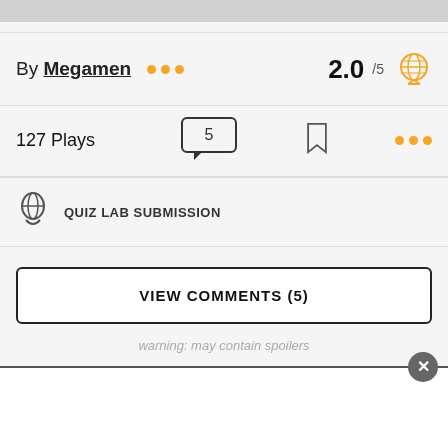By Megamen ••• 2.0 /5
127 Plays
QUIZ LAB SUBMISSION
VIEW COMMENTS (5)
warning: may contain spoilers